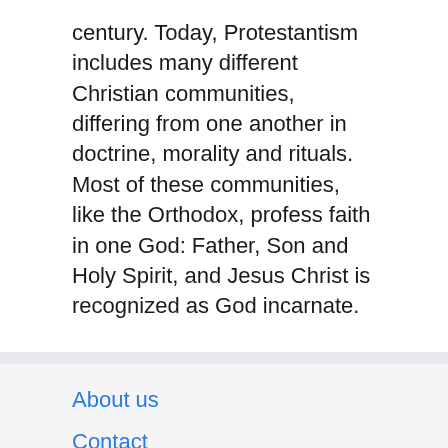century. Today, Protestantism includes many different Christian communities, differing from one another in doctrine, morality and rituals. Most of these communities, like the Orthodox, profess faith in one God: Father, Son and Holy Spirit, and Jesus Christ is recognized as God incarnate.
About us
Contact
Privacy Policy & Cookies
ATTENTION TO RIGHT HOLDERS! All materials are posted on the site strictly for informational and educational purposes! If